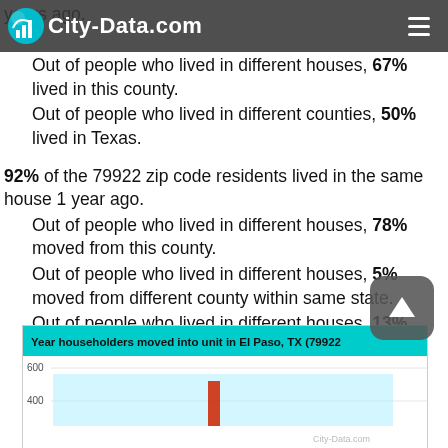City-Data.com
years ago.
Out of people who lived in different houses, 67% lived in this county.
Out of people who lived in different counties, 50% lived in Texas.
92% of the 79922 zip code residents lived in the same house 1 year ago.
Out of people who lived in different houses, 78% moved from this county.
Out of people who lived in different houses, 5% moved from different county within same state.
Out of people who lived in different houses, 13% moved from different state.
Out of people who lived in different houses, 5% moved from abroad.
[Figure (bar-chart): Bar chart partially visible at bottom of page showing year householders moved into unit in El Paso TX 79922, y-axis shows 600 and 400 labels visible]